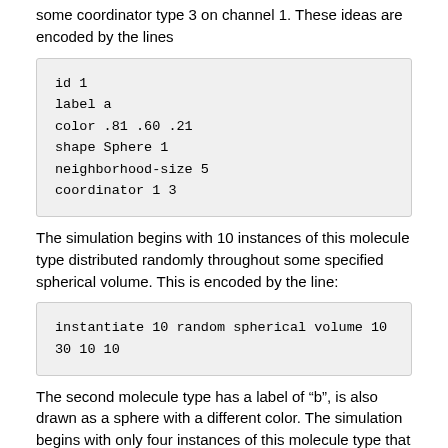some coordinator type 3 on channel 1. These ideas are encoded by the lines
id 1
label a
color .81 .60 .21
shape Sphere 1
neighborhood-size 5
coordinator 1 3
The simulation begins with 10 instances of this molecule type distributed randomly throughout some specified spherical volume. This is encoded by the line:
instantiate 10 random spherical volume 10
30 10 10
The second molecule type has a label of “b”, is also drawn as a sphere with a different color. The simulation begins with only four instances of this molecule type that are also distributed in a spherical volume at a separate location in the